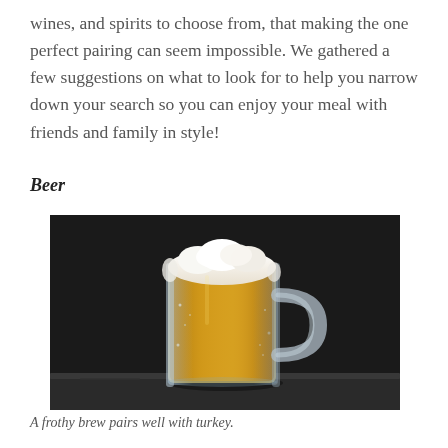wines, and spirits to choose from, that making the one perfect pairing can seem impossible. We gathered a few suggestions on what to look for to help you narrow down your search so you can enjoy your meal with friends and family in style!
Beer
[Figure (photo): A frosted glass beer mug filled with golden lager and a frothy white foam head, set against a dark background on a wet surface.]
A frothy brew pairs well with turkey.